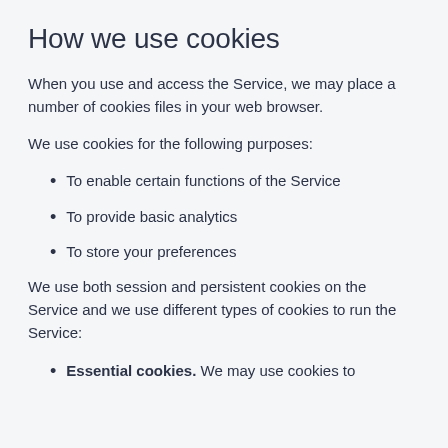How we use cookies
When you use and access the Service, we may place a number of cookies files in your web browser.
We use cookies for the following purposes:
To enable certain functions of the Service
To provide basic analytics
To store your preferences
We use both session and persistent cookies on the Service and we use different types of cookies to run the Service:
Essential cookies. We may use cookies to